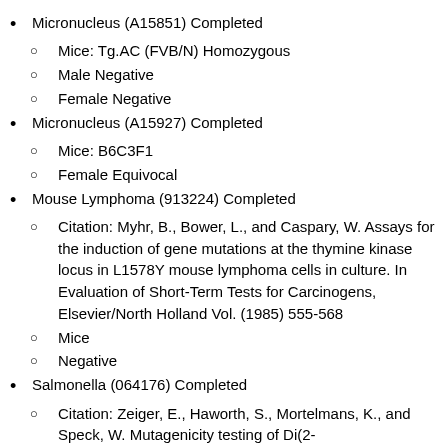Micronucleus (A15851) Completed
Mice: Tg.AC (FVB/N) Homozygous
Male Negative
Female Negative
Micronucleus (A15927) Completed
Mice: B6C3F1
Female Equivocal
Mouse Lymphoma (913224) Completed
Citation: Myhr, B., Bower, L., and Caspary, W. Assays for the induction of gene mutations at the thymine kinase locus in L1578Y mouse lymphoma cells in culture. In Evaluation of Short-Term Tests for Carcinogens, Elsevier/North Holland Vol. (1985) 555-568
Mice
Negative
Salmonella (064176) Completed
Citation: Zeiger, E., Haworth, S., Mortelmans, K., and Speck, W. Mutagenicity testing of Di(2-ethylhexyl)phthalate and related chemicals in Salmonella